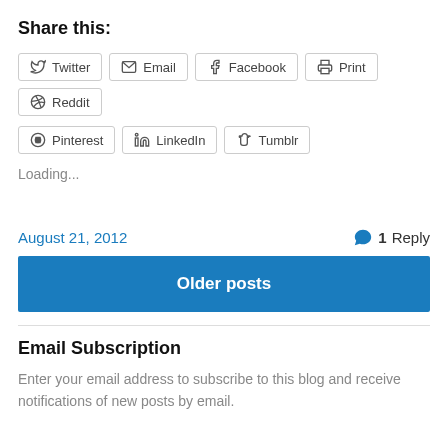Share this:
Twitter
Email
Facebook
Print
Reddit
Pinterest
LinkedIn
Tumblr
Loading...
August 21, 2012
1 Reply
Older posts
Email Subscription
Enter your email address to subscribe to this blog and receive notifications of new posts by email.